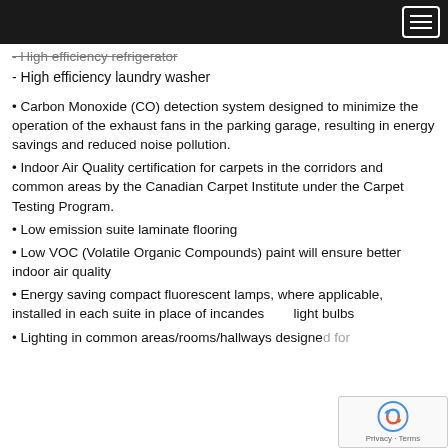Navigation header bar
- High efficiency refrigerator
- High efficiency laundry washer
• Carbon Monoxide (CO) detection system designed to minimize the operation of the exhaust fans in the parking garage, resulting in energy savings and reduced noise pollution.
• Indoor Air Quality certification for carpets in the corridors and common areas by the Canadian Carpet Institute under the Carpet Testing Program.
• Low emission suite laminate flooring
• Low VOC (Volatile Organic Compounds) paint will ensure better indoor air quality
• Energy saving compact fluorescent lamps, where applicable, installed in each suite in place of incandescent light bulbs
• Lighting in common areas/rooms/hallways designed for…